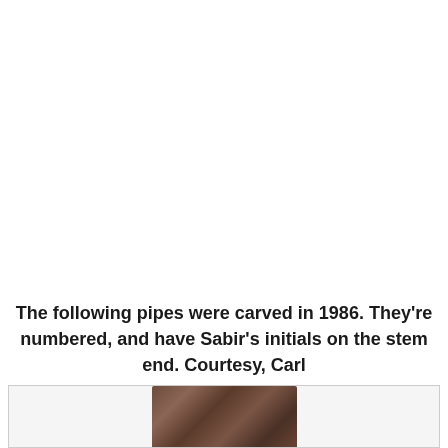The following pipes were carved in 1986. They're numbered, and have Sabir's initials on the stem end. Courtesy, Carl
[Figure (photo): Partial view of a carved pipe, showing brown/dark tones, cropped at the bottom of the page inside a light gray bordered box.]